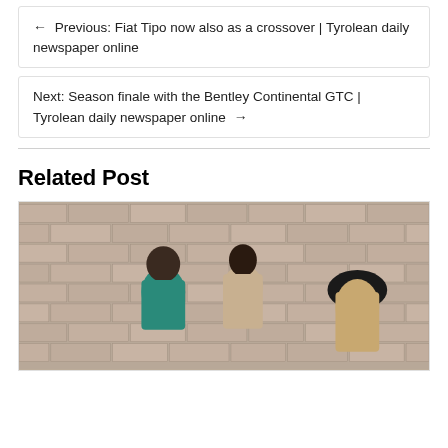← Previous: Fiat Tipo now also as a crossover | Tyrolean daily newspaper online
Next: Season finale with the Bentley Continental GTC | Tyrolean daily newspaper online →
Related Post
[Figure (photo): Three people leaning against a brick wall, two facing each other closely, one with curly hair facing away]